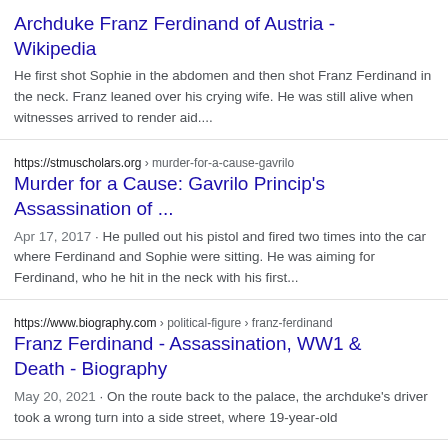Archduke Franz Ferdinand of Austria - Wikipedia
He first shot Sophie in the abdomen and then shot Franz Ferdinand in the neck. Franz leaned over his crying wife. He was still alive when witnesses arrived to render aid....
https://stmuscholars.org › murder-for-a-cause-gavrilo
Murder for a Cause: Gavrilo Princip's Assassination of ...
Apr 17, 2017 · He pulled out his pistol and fired two times into the car where Ferdinand and Sophie were sitting. He was aiming for Ferdinand, who he hit in the neck with his first...
https://www.biography.com › political-figure › franz-ferdinand
Franz Ferdinand - Assassination, WW1 & Death - Biography
May 20, 2021 · On the route back to the palace, the archduke's driver took a wrong turn into a side street, where 19-year-old